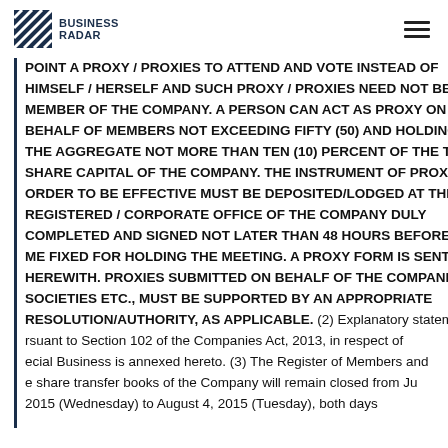BUSINESS RADAR
POINT A PROXY / PROXIES TO ATTEND AND VOTE INSTEAD OF HIMSELF / HERSELF AND SUCH PROXY / PROXIES NEED NOT BE A MEMBER OF THE COMPANY. A PERSON CAN ACT AS PROXY ON BEHALF OF MEMBERS NOT EXCEEDING FIFTY (50) AND HOLDING IN THE AGGREGATE NOT MORE THAN TEN (10) PERCENT OF THE TOTAL SHARE CAPITAL OF THE COMPANY. THE INSTRUMENT OF PROXY IN ORDER TO BE EFFECTIVE MUST BE DEPOSITED/LODGED AT THE REGISTERED / CORPORATE OFFICE OF THE COMPANY DULY COMPLETED AND SIGNED NOT LATER THAN 48 HOURS BEFORE THE TIME FIXED FOR HOLDING THE MEETING. A PROXY FORM IS SENT HEREWITH. PROXIES SUBMITTED ON BEHALF OF THE COMPANIES, SOCIETIES ETC., MUST BE SUPPORTED BY AN APPROPRIATE RESOLUTION/AUTHORITY, AS APPLICABLE. (2) Explanatory statement pursuant to Section 102 of the Companies Act, 2013, in respect of Special Business is annexed hereto. (3) The Register of Members and the share transfer books of the Company will remain closed from July 2015 (Wednesday) to August 4, 2015 (Tuesday), both days